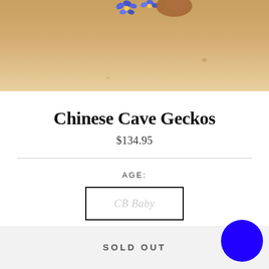[Figure (photo): Partial photo of a gecko on a sandy/cream background with blue flowers visible at top]
Chinese Cave Geckos
$134.95
AGE:
CB Baby
SOLD OUT